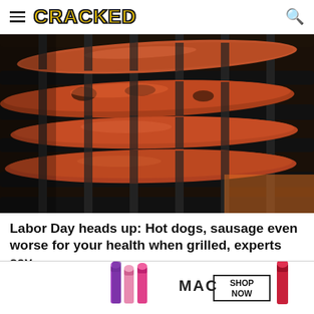CRACKED
[Figure (photo): Hot dogs and sausages cooking on a dark metal grill grate, close-up photo showing browned and charred franks with grill marks]
Labor Day heads up: Hot dogs, sausage even worse for your health when grilled, experts say
The Grio
[Figure (photo): MAC cosmetics advertisement showing colorful lipsticks in pink, purple and red shades with text SHOP NOW]